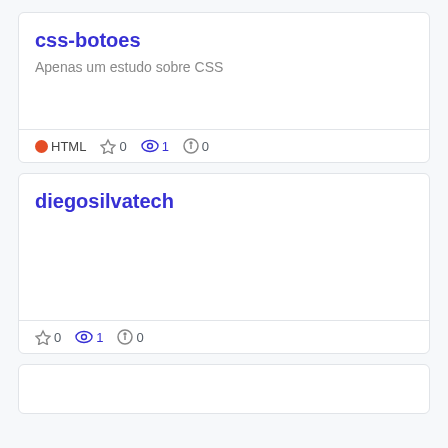css-botoes
Apenas um estudo sobre CSS
HTML  ☆ 0  👁 1  ⓘ 0
diegosilvatech
☆ 0  👁 1  ⓘ 0